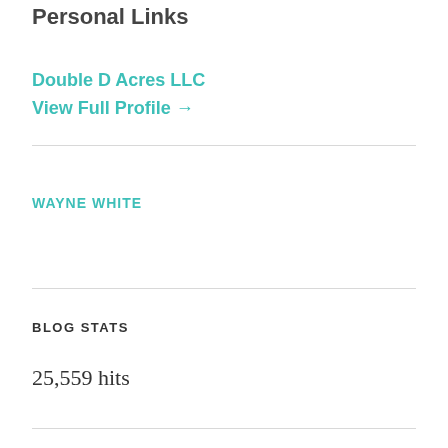Personal Links
Double D Acres LLC
View Full Profile →
WAYNE WHITE
BLOG STATS
25,559 hits